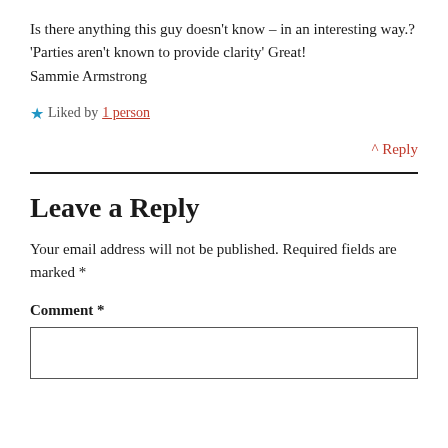Is there anything this guy doesn't know – in an interesting way.? 'Parties aren't known to provide clarity' Great!
Sammie Armstrong
★ Liked by 1 person
^ Reply
Leave a Reply
Your email address will not be published. Required fields are marked *
Comment *